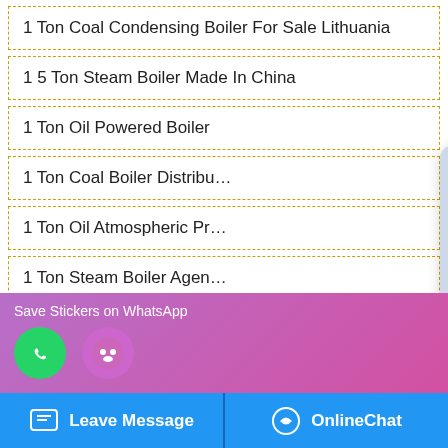1 Ton Coal Condensing Boiler For Sale Lithuania
1 5 Ton Steam Boiler Made In China
1 Ton Oil Powered Boiler
1 Ton Coal Boiler Distribu…
1 Ton Oil Atmospheric Pr…
1 Ton Steam Boiler Agen…
1 Ton Oil Boiler Plant High Efficiency Turkmenistan
1 Ton Diesel Fired Boiler Machine Supplier Ukraine
1 Ton Manufacturing Companies Boiler Plant Lithuania
…chine Industrial Cheap Estonia
[Figure (screenshot): Chat popup with avatar photo of woman with headset, stars decoration, text 'Want to know more details? Chat with us for preferential price!' and orange 'Get Latest Price' button]
[Figure (screenshot): Side widget with Chat, Email, Contact icons]
[Figure (screenshot): WhatsApp sticker save popup at bottom with green phone icon and purple smiley icon]
[Figure (screenshot): Bottom bar with Leave Message and OnlineChat buttons]